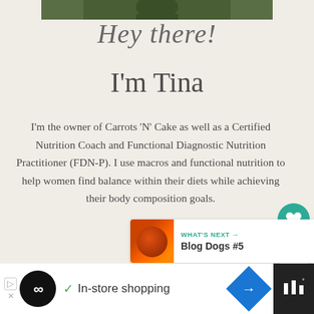[Figure (photo): Partial photo of a person at the top of the page, cropped]
Hey there!
I'm Tina
I'm the owner of Carrots 'N' Cake as well as a Certified Nutrition Coach and Functional Diagnostic Nutrition Practitioner (FDN-P). I use macros and functional nutrition to help women find balance within their diets while achieving their body composition goals.
[Figure (infographic): Like/heart button (teal circle with heart icon), count '1', and share button]
[Figure (infographic): What's Next section with thumbnail image of a dog and text 'WHAT'S NEXT → Blog Dogs #5']
[Figure (screenshot): Advertisement bar at bottom: black background with white ad panel showing loop logo, checkmark, 'In-store shopping' text, navigation diamond icon, and right panel with bar icon]